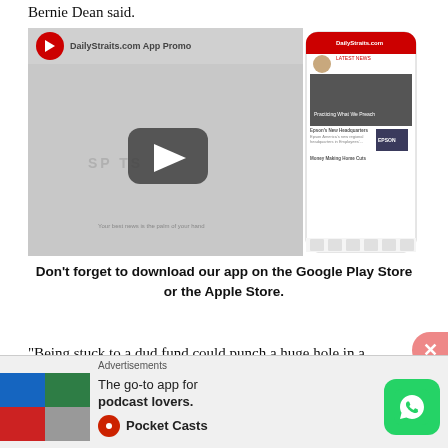Bernie Dean said.
[Figure (screenshot): Embedded video player showing DailyStraits.com App Promo with a YouTube-style play button, SPORTS text visible, and a phone mockup showing the app interface on the right side.]
Don’t forget to download our app on the Google Play Store or the Apple Store.
“Being stuck to a dud fund could punch a huge hole in a
[Figure (infographic): Advertisement banner for Pocket Casts: The go-to app for podcast lovers. Shows a colorful logo block and WhatsApp icon button.]